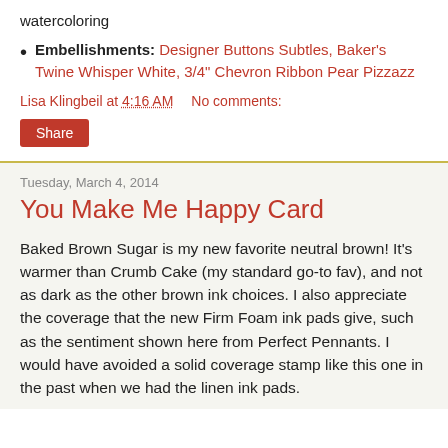watercoloring
Embellishments: Designer Buttons Subtles, Baker's Twine Whisper White, 3/4" Chevron Ribbon Pear Pizzazz
Lisa Klingbeil at 4:16 AM   No comments:
Share
Tuesday, March 4, 2014
You Make Me Happy Card
Baked Brown Sugar is my new favorite neutral brown! It's warmer than Crumb Cake (my standard go-to fav), and not as dark as the other brown ink choices. I also appreciate the coverage that the new Firm Foam ink pads give, such as the sentiment shown here from Perfect Pennants. I would have avoided a solid coverage stamp like this one in the past when we had the linen ink pads.